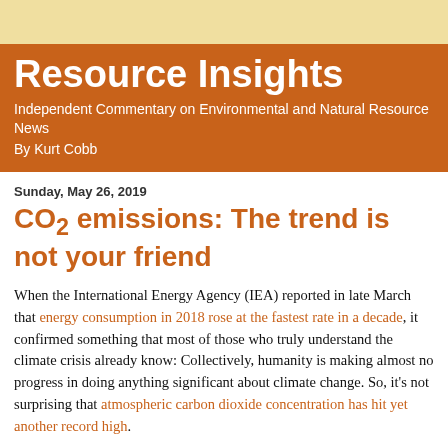Resource Insights
Independent Commentary on Environmental and Natural Resource News
By Kurt Cobb
Sunday, May 26, 2019
CO2 emissions: The trend is not your friend
When the International Energy Agency (IEA) reported in late March that energy consumption in 2018 rose at the fastest rate in a decade, it confirmed something that most of those who truly understand the climate crisis already know: Collectively, humanity is making almost no progress in doing anything significant about climate change. So, it's not surprising that atmospheric carbon dioxide concentration has hit yet another record high.